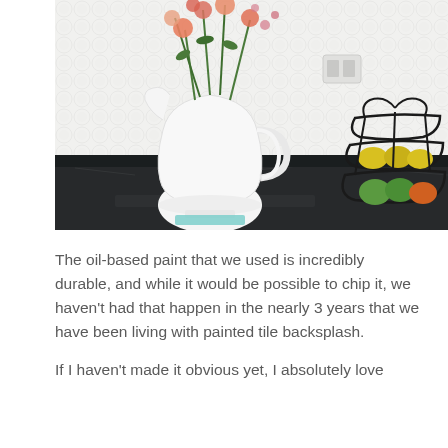[Figure (photo): Kitchen counter with a white ceramic pitcher holding pink and orange flowers against a white textured tile backsplash. On the right side is a black metal tiered fruit basket holding yellow, green, and orange fruit. The counter is dark granite/marble.]
The oil-based paint that we used is incredibly durable, and while it would be possible to chip it, we haven't had that happen in the nearly 3 years that we have been living with painted tile backsplash.
If I haven't made it obvious yet, I absolutely love